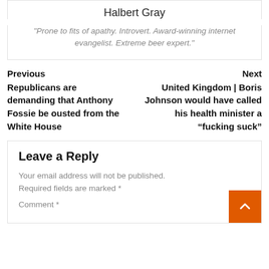Halbert Gray
"Prone to fits of apathy. Introvert. Award-winning internet evangelist. Extreme beer expert."
Previous
Republicans are demanding that Anthony Fossie be ousted from the White House
Next
United Kingdom | Boris Johnson would have called his health minister a “fucking suck”
Leave a Reply
Your email address will not be published. Required fields are marked *
Comment *